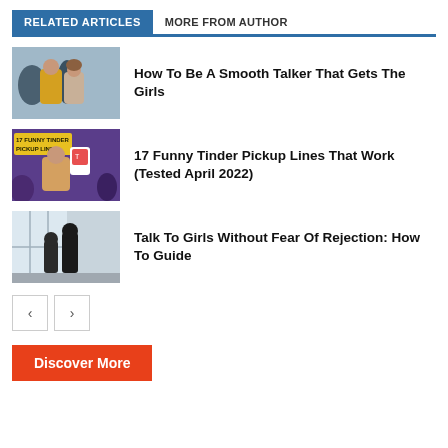RELATED ARTICLES | MORE FROM AUTHOR
[Figure (photo): Two people from behind, one in yellow jacket, outdoors setting]
How To Be A Smooth Talker That Gets The Girls
[Figure (photo): 17 Funny Tinder Pickup Lines promotional image with man holding phone]
17 Funny Tinder Pickup Lines That Work (Tested April 2022)
[Figure (photo): Two silhouettes talking near a window in an office]
Talk To Girls Without Fear Of Rejection: How To Guide
< >
Discover More